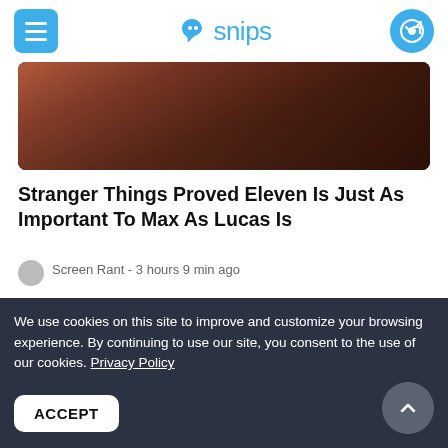snips
[Figure (photo): Dark moody photo showing people, used as article hero image]
Stranger Things Proved Eleven Is Just As Important To Max As Lucas Is
Screen Rant - 3 hours 9 min ago
Though Eleven and Max's friendship is missing in Stranger Things season 4, the show proves that Eleven is still an important person in Max's life.
Snip it!  Share this article & earn!
We use cookies on this site to improve and customize your browsing experience. By continuing to use our site, you consent to the use of our cookies. Privacy Policy
ACCEPT